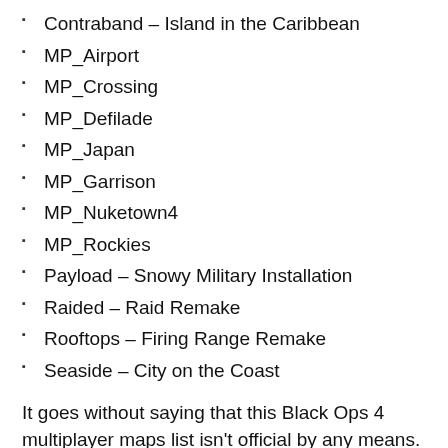Contraband – Island in the Caribbean
MP_Airport
MP_Crossing
MP_Defilade
MP_Japan
MP_Garrison
MP_Nuketown4
MP_Rockies
Payload – Snowy Military Installation
Raided – Raid Remake
Rooftops – Firing Range Remake
Seaside – City on the Coast
It goes without saying that this Black Ops 4 multiplayer maps list isn't official by any means. Until we get confirmation, it is best we do not take any information at face value. But...